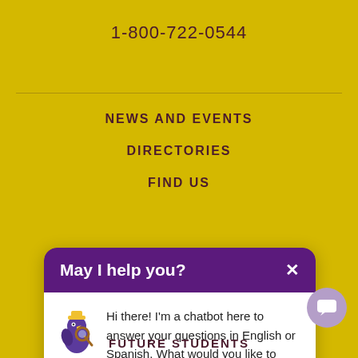1-800-722-0544
NEWS AND EVENTS
DIRECTORIES
FIND US
CONTACTS
[Figure (screenshot): Chatbot popup with purple header saying 'May I help you?' and a close X button. White body with bird mascot icon and message: 'Hi there! I'm a chatbot here to answer your questions in English or Spanish. What would you like to know?']
FUTURE STUDENTS